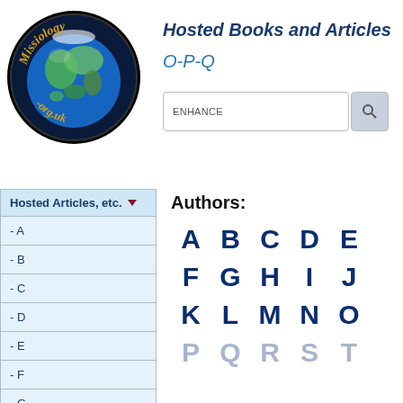[Figure (logo): Missiology.org.uk circular logo with globe image, text 'Missiology' at top and '-org.uk' at bottom in gold script on black background]
Hosted Books and Articles
O-P-Q
ENHANCE (search box)
Authors:
Hosted Articles, etc.
- A
- B
- C
- D
- E
- F
- G
A B C D E F G H I J K L M N O P Q R S T